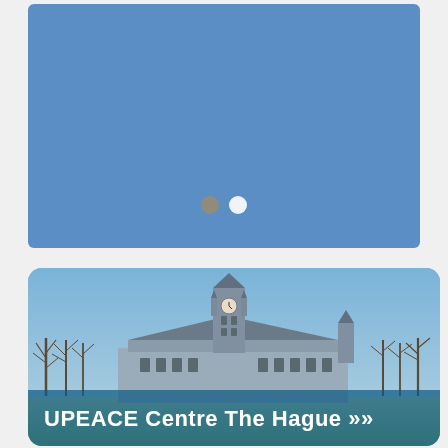[Figure (photo): Solid blue background image (loading/placeholder state) with two small navigation dots — one tan/dark and one white — centered near the bottom, indicating a carousel slideshow widget.]
[Figure (photo): Photograph of the Peace Palace in The Hague against a clear blue sky with bare winter trees in the foreground. A semi-transparent teal banner overlay at the bottom reads 'UPEACE Centre The Hague >>']